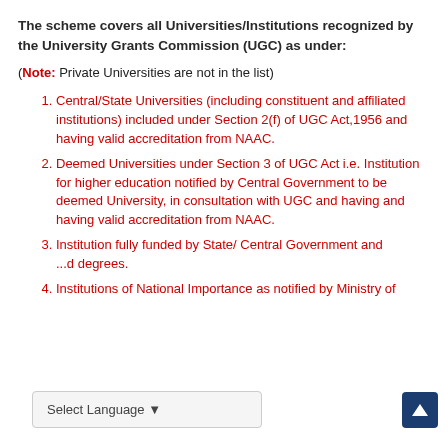The scheme covers all Universities/Institutions recognized by the University Grants Commission (UGC) as under:
(Note: Private Universities are not in the list)
Central/State Universities (including constituent and affiliated institutions) included under Section 2(f) of UGC Act,1956 and having valid accreditation from NAAC.
Deemed Universities under Section 3 of UGC Act i.e. Institution for higher education notified by Central Government to be deemed University, in consultation with UGC and having and having valid accreditation from NAAC.
Institution fully funded by State/ Central Government and ...d degrees.
Institutions of National Importance as notified by Ministry of